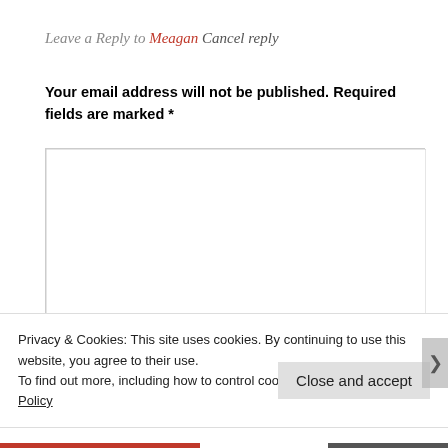Leave a Reply to Meagan Cancel reply
Your email address will not be published. Required fields are marked *
[Figure (screenshot): A text area input box for entering a comment reply, with a resize handle in the bottom-right corner.]
Privacy & Cookies: This site uses cookies. By continuing to use this website, you agree to their use.
To find out more, including how to control cookies, see here: Cookie Policy
Close and accept